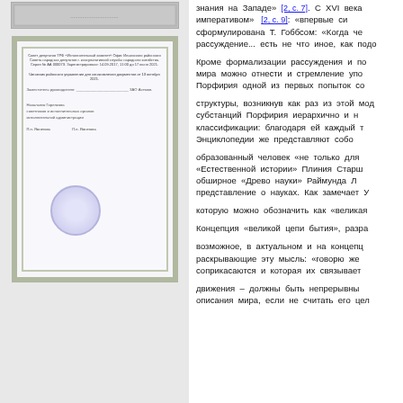[Figure (photo): Scanned official document/certificate with decorative border, stamp/seal, and handwritten signatures]
знания на Западе» [2, с. 7]. С XVI века ... императивом» [2, с. 9]: «впервые си... сформулирована Т. Гоббсом: «Когда че... рассуждение... есть не что иное, как подо...
Кроме формализации рассуждения и по... мира можно отнести и стремление упо... Порфирия одной из первых попыток со...
структуры, возникнув как раз из этой мод... субстанций Порфирия иерархично и н... классификации: благодаря ей каждый т... Энциклопедии же представляют собо...
образованный человек «не только для ... «Естественной истории» Плиния Старшо... обширное «Древо науки» Раймунда ... представление о науках. Как замечает У... которую можно обозначить как «великая ...
Концепция «великой цепи бытия», разра...
возможное, в актуальном и на концепц... раскрывающие эту мысль: «говорю же... соприкасаются и которая их связывает...
движения – должны быть непрерывны... описания мира, если не считать его цел...